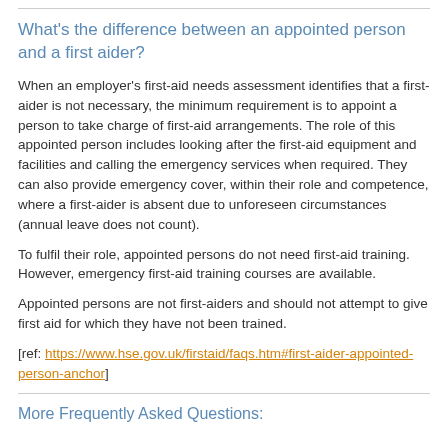What's the difference between an appointed person and a first aider?
When an employer's first-aid needs assessment identifies that a first-aider is not necessary, the minimum requirement is to appoint a person to take charge of first-aid arrangements. The role of this appointed person includes looking after the first-aid equipment and facilities and calling the emergency services when required. They can also provide emergency cover, within their role and competence, where a first-aider is absent due to unforeseen circumstances (annual leave does not count).
To fulfil their role, appointed persons do not need first-aid training. However, emergency first-aid training courses are available.
Appointed persons are not first-aiders and should not attempt to give first aid for which they have not been trained.
[ref: https://www.hse.gov.uk/firstaid/faqs.htm#first-aider-appointed-person-anchor]
More Frequently Asked Questions: